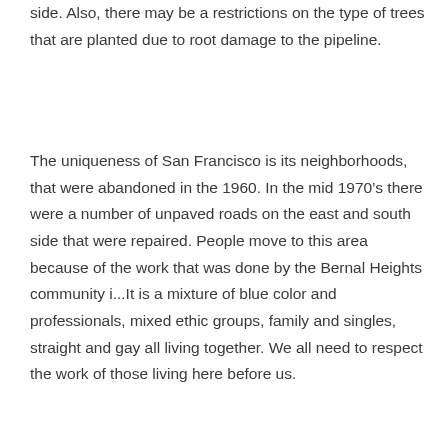side. Also, there may be a restrictions on the type of trees that are planted due to root damage to the pipeline.
The uniqueness of San Francisco is its neighborhoods, that were abandoned in the 1960. In the mid 1970’s there were a number of unpaved roads on the east and south side that were repaired. People move to this area because of the work that was done by the Bernal Heights community i...It is a mixture of blue color and professionals, mixed ethic groups, family and singles, straight and gay all living together. We all need to respect the work of those living here before us.